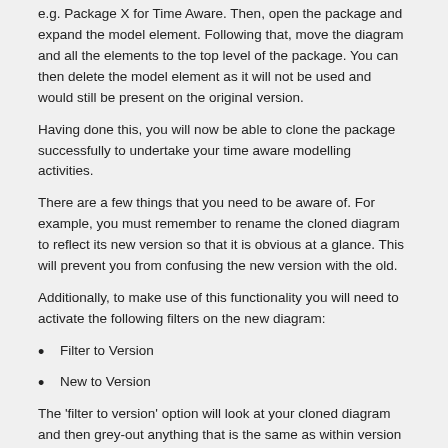e.g. Package X for Time Aware. Then, open the package and expand the model element. Following that, move the diagram and all the elements to the top level of the package. You can then delete the model element as it will not be used and would still be present on the original version.
Having done this, you will now be able to clone the package successfully to undertake your time aware modelling activities.
There are a few things that you need to be aware of. For example, you must remember to rename the cloned diagram to reflect its new version so that it is obvious at a glance. This will prevent you from confusing the new version with the old.
Additionally, to make use of this functionality you will need to activate the following filters on the new diagram:
Filter to Version
New to Version
The ‘filter to version’ option will look at your cloned diagram and then grey-out anything that is the same as within version one. The’ new to version’ option will display any element added to the new version as ‘normal’, allowing you distinguish between features that are in place within your process and the features that you wish to add to your process in the newer version.
You can even make minor modifications to version one elements & have them render for version two. You can do this by right-clicking one of your greyed-out elements and cloning to new version:
[Figure (screenshot): Partial screenshot of a context menu or diagram element at the bottom of the page]